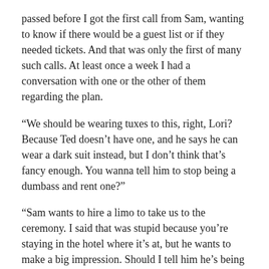passed before I got the first call from Sam, wanting to know if there would be a guest list or if they needed tickets. And that was only the first of many such calls. At least once a week I had a conversation with one or the other of them regarding the plan.
“We should be wearing tuxes to this, right, Lori? Because Ted doesn’t have one, and he says he can wear a dark suit instead, but I don’t think that’s fancy enough. You wanna tell him to stop being a dumbass and rent one?”
“Sam wants to hire a limo to take us to the ceremony. I said that was stupid because you’re staying in the hotel where it’s at, but he wants to make a big impression. Should I tell him he’s being a dumbass, or do you want to?”
“I know we don’t need a limo for transportation! But we’re going to look like idiots just ‘walking up’ to the red carpet… What are you talking about? Of course there’ll be a red carpet!